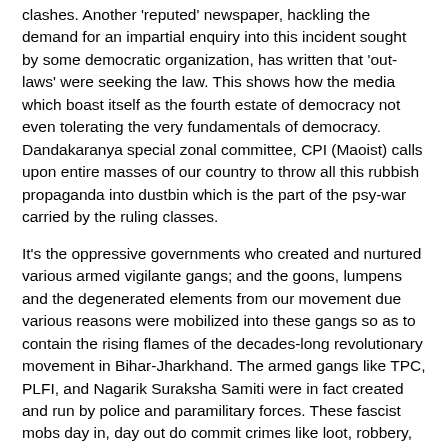clashes. Another 'reputed' newspaper, hackling the demand for an impartial enquiry into this incident sought by some democratic organization, has written that 'out-laws' were seeking the law. This shows how the media which boast itself as the fourth estate of democracy not even tolerating the very fundamentals of democracy. Dandakaranya special zonal committee, CPI (Maoist) calls upon entire masses of our country to throw all this rubbish propaganda into dustbin which is the part of the psy-war carried by the ruling classes.
It's the oppressive governments who created and nurtured various armed vigilante gangs; and the goons, lumpens and the degenerated elements from our movement due various reasons were mobilized into these gangs so as to contain the rising flames of the decades-long revolutionary movement in Bihar-Jharkhand. The armed gangs like TPC, PLFI, and Nagarik Suraksha Samiti were in fact created and run by police and paramilitary forces. These fascist mobs day in, day out do commit crimes like loot, robbery, extortion, rape and murder. The formation of various types of black gangs in Andhra Pradesh, Salwa Judum in Chhattisgarh, Harmed Bahini and Bhairav Bahini in Bengal, Shanti Sangho in Odisha et al. is also part of the same fascist policies being adapted by the governments.
In another incident, according to media reports, five Maoists including two women were killed in an alleged encounter on April 4 in